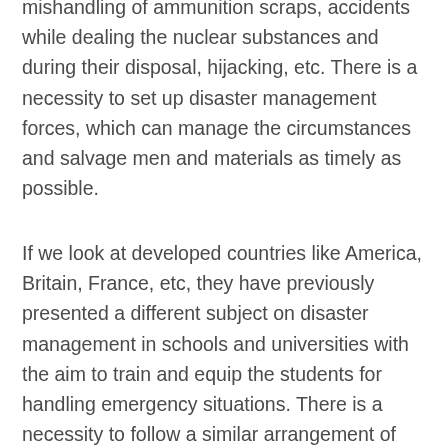mishandling of ammunition scraps, accidents while dealing the nuclear substances and during their disposal, hijacking, etc. There is a necessity to set up disaster management forces, which can manage the circumstances and salvage men and materials as timely as possible.
If we look at developed countries like America, Britain, France, etc, they have previously presented a different subject on disaster management in schools and universities with the aim to train and equip the students for handling emergency situations. There is a necessity to follow a similar arrangement of schooling in other countries for empowering the country to prepare every single resident to face and battle